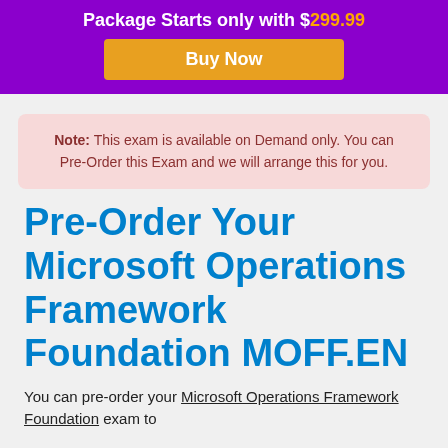Package Starts only with $299.99
Buy Now
Note: This exam is available on Demand only. You can Pre-Order this Exam and we will arrange this for you.
Pre-Order Your Microsoft Operations Framework Foundation MOFF.EN
You can pre-order your Microsoft Operations Framework Foundation exam to